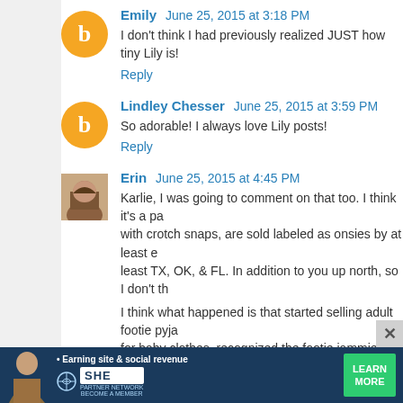Emily  June 25, 2015 at 3:18 PM
I don't think I had previously realized JUST how tiny Lily is!
Reply
Lindley Chesser  June 25, 2015 at 3:59 PM
So adorable! I always love Lily posts!
Reply
Erin  June 25, 2015 at 4:45 PM
Karlie, I was going to comment on that too. I think it's a pa... with crotch snaps, are sold labeled as onsies by at least e... least TX, OK, & FL. In addition to you up north, so I don't th...

I think what happened is that started selling adult footie pyja... for baby clothes, recognized the footie jammies as baby c... sounds better than adult footie pyjamas, adult sleep& plays...

So, I hate to tell you this, Jen, but I don't think anyor...
[Figure (infographic): SHE PARTNER NETWORK advertisement banner. Text: Earning site & social revenue. Logo: SHE. Tagline: PARTNER NETWORK BECOME A MEMBER. Button: LEARN MORE. Photo of woman on left side.]